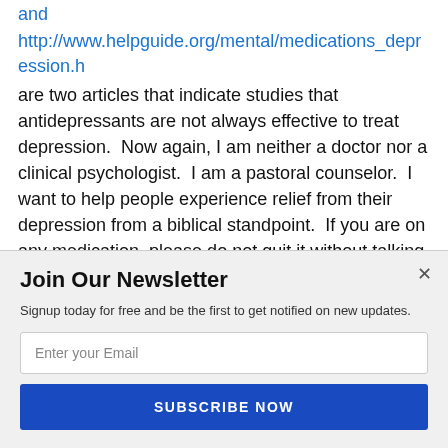and http://www.helpguide.org/mental/medications_depression.h are two articles that indicate studies that antidepressants are not always effective to treat depression.  Now again, I am neither a doctor nor a clinical psychologist.  I am a pastoral counselor.  I want to help people experience relief from their depression from a biblical standpoint.  If you are on any medication, please do not quit it without talking to your doctor first.  I thank God for the medication that is o[POWERED BY SUMO]u to know that I
Join Our Newsletter
Signup today for free and be the first to get notified on new updates.
Enter your Email
SUBSCRIBE NOW